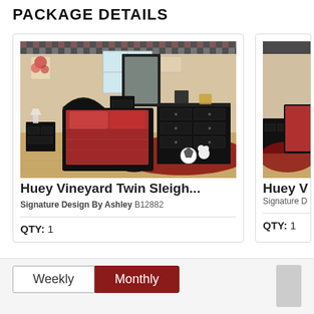PACKAGE DETAILS
[Figure (photo): Huey Vineyard Twin Sleigh bedroom set photo showing black sleigh bed with red bedding, matching dresser, mirror, chest, nightstand on wood floor with red rug]
Huey Vineyard Twin Sleigh...
Signature Design By Ashley B12882
QTY: 1
[Figure (photo): Partial view of a second Huey V... bedroom set product card, partially cropped]
Huey V
Signature D
QTY: 1
Weekly
Monthly